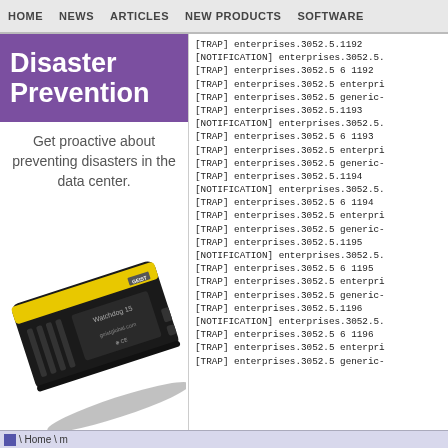HOME   NEWS   ARTICLES   NEW PRODUCTS   SOFTWARE
Disaster Prevention
Get proactive about preventing disasters in the data center.
[Figure (photo): A black electronic monitoring device (Watchdog 15) with a yellow stripe, manufactured by GEIST, showing geistglobal.com on the label and CE marking.]
[TRAP] enterprises.3052.5.1192
[NOTIFICATION] enterprises.3052.5.
[TRAP] enterprises.3052.5 6 1192
[TRAP] enterprises.3052.5 enterpri
[TRAP] enterprises.3052.5 generic-
[TRAP] enterprises.3052.5.1193
[NOTIFICATION] enterprises.3052.5.
[TRAP] enterprises.3052.5 6 1193
[TRAP] enterprises.3052.5 enterpri
[TRAP] enterprises.3052.5 generic-
[TRAP] enterprises.3052.5.1194
[NOTIFICATION] enterprises.3052.5.
[TRAP] enterprises.3052.5 6 1194
[TRAP] enterprises.3052.5 enterpri
[TRAP] enterprises.3052.5 generic-
[TRAP] enterprises.3052.5.1195
[NOTIFICATION] enterprises.3052.5.
[TRAP] enterprises.3052.5 6 1195
[TRAP] enterprises.3052.5 enterpri
[TRAP] enterprises.3052.5 generic-
[TRAP] enterprises.3052.5.1196
[NOTIFICATION] enterprises.3052.5.
[TRAP] enterprises.3052.5 6 1196
[TRAP] enterprises.3052.5 enterpri
[TRAP] enterprises.3052.5 generic-
\ Home \ m